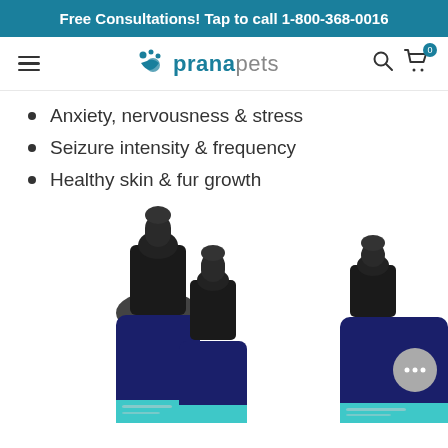Free Consultations! Tap to call 1-800-368-0016
[Figure (logo): Prana Pets logo with paw print icon, teal and gray text]
Anxiety, nervousness & stress
Seizure intensity & frequency
Healthy skin & fur growth
[Figure (photo): Three dropper bottles with dark blue glass and black caps, partially visible at the bottom of the page, with teal labels]